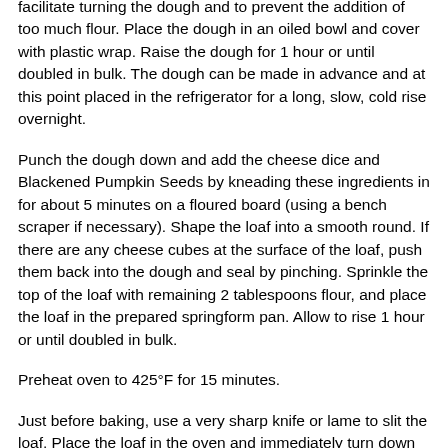facilitate turning the dough and to prevent the addition of too much flour. Place the dough in an oiled bowl and cover with plastic wrap. Raise the dough for 1 hour or until doubled in bulk. The dough can be made in advance and at this point placed in the refrigerator for a long, slow, cold rise overnight.
Punch the dough down and add the cheese dice and Blackened Pumpkin Seeds by kneading these ingredients in for about 5 minutes on a floured board (using a bench scraper if necessary). Shape the loaf into a smooth round. If there are any cheese cubes at the surface of the loaf, push them back into the dough and seal by pinching. Sprinkle the top of the loaf with remaining 2 tablespoons flour, and place the loaf in the prepared springform pan. Allow to rise 1 hour or until doubled in bulk.
Preheat oven to 425°F for 15 minutes.
Just before baking, use a very sharp knife or lame to slit the loaf. Place the loaf in the oven and immediately turn down the heat to 375°F. Squirt the water into the pie plate and immediately close the oven door. After 3 minutes, squirt more water into the pie plate and close the oven door.